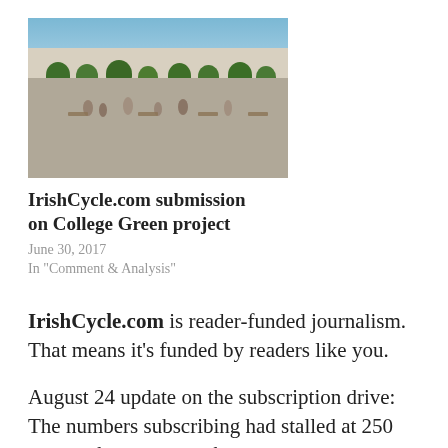[Figure (photo): Outdoor urban plaza with trees, people walking, benches, and classical buildings in the background under a blue sky — College Green project rendering]
IrishCycle.com submission on College Green project
June 30, 2017
In "Comment & Analysis"
IrishCycle.com is reader-funded journalism. That means it's funded by readers like you.
August 24 update on the subscription drive: The numbers subscribing had stalled at 250 readers for months. After a push to get to 270 subscribers (ie 20 extra readers paying monthly) by the end of August,